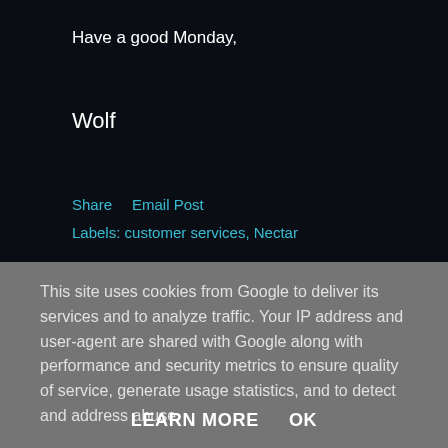Have a good Monday,
Wolf
Share    Email Post
Labels: customer services, Nectar
This site uses cookies from Google to deliver its services and to analyze traffic. Your IP address and user-agent are shared with Google along with performance and security metrics to ensure quality of service, generate usage statistics, and to detect and address abuse.
LEARN MORE    OK